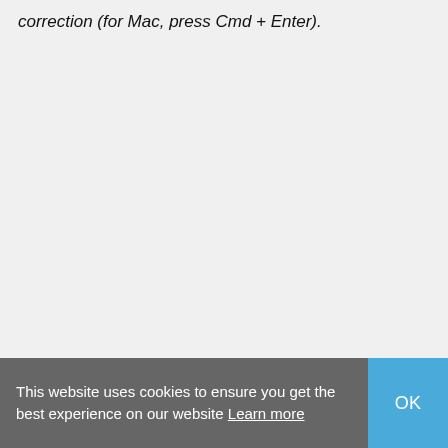correction (for Mac, press Cmd + Enter).
This website uses cookies to ensure you get the best experience on our website Learn more